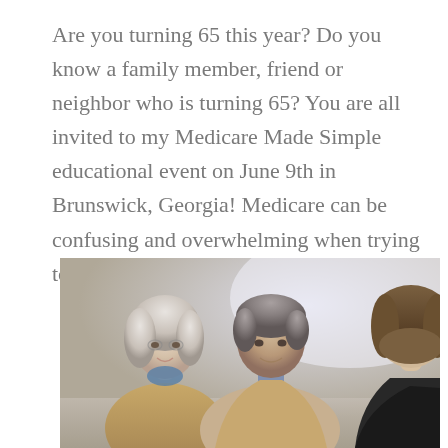Are you turning 65 this year? Do you know a family member, friend or neighbor who is turning 65? You are all invited to my Medicare Made Simple educational event on June 9th in Brunswick, Georgia! Medicare can be confusing and overwhelming when trying to figure it out...
[Figure (photo): Photo of an elderly couple (woman with white/gray hair on left, man with gray hair in center) sitting across from a younger woman advisor (seen from behind on right), appearing to be in a consultation meeting.]